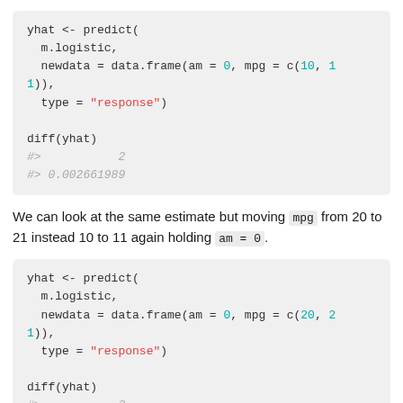[Figure (other): R code block showing yhat <- predict(m.logistic, newdata = data.frame(am = 0, mpg = c(10, 11)), type = "response") followed by diff(yhat) with output #> 2 and #> 0.002661989]
We can look at the same estimate but moving mpg from 20 to 21 instead 10 to 11 again holding am = 0.
[Figure (other): R code block showing yhat <- predict(m.logistic, newdata = data.frame(am = 0, mpg = c(20, 21)), type = "response") followed by diff(yhat) with output #> 2 and #> 0.1175344]